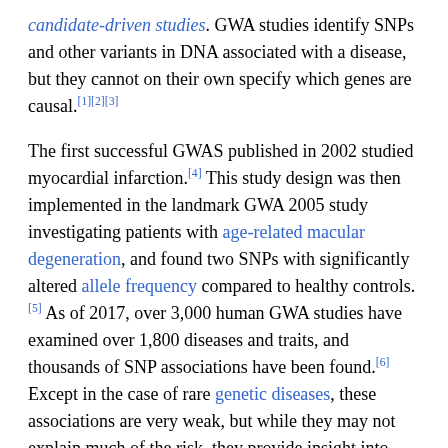candidate-driven studies. GWA studies identify SNPs and other variants in DNA associated with a disease, but they cannot on their own specify which genes are causal.[1][2][3]
The first successful GWAS published in 2002 studied myocardial infarction.[4] This study design was then implemented in the landmark GWA 2005 study investigating patients with age-related macular degeneration, and found two SNPs with significantly altered allele frequency compared to healthy controls.[5] As of 2017, over 3,000 human GWA studies have examined over 1,800 diseases and traits, and thousands of SNP associations have been found.[6] Except in the case of rare genetic diseases, these associations are very weak, but while they may not explain much of the risk, they provide insight into genes and pathways that can be important.